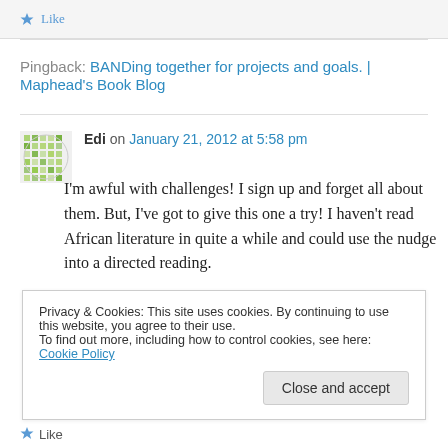★ Like
Pingback: BANDing together for projects and goals. | Maphead's Book Blog
Edi on January 21, 2012 at 5:58 pm
I'm awful with challenges! I sign up and forget all about them. But, I've got to give this one a try! I haven't read African literature in quite a while and could use the nudge into a directed reading.
Privacy & Cookies: This site uses cookies. By continuing to use this website, you agree to their use.
To find out more, including how to control cookies, see here: Cookie Policy
Close and accept
★ Like